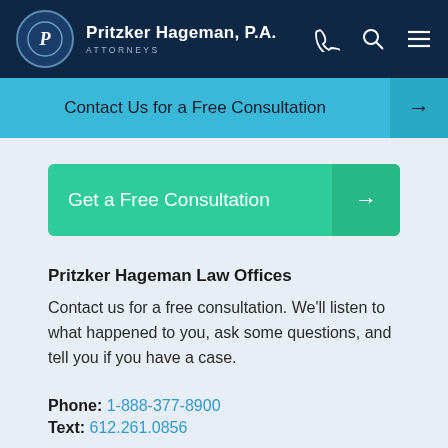Pritzker Hageman, P.A. ATTORNEYS
Contact Us for a Free Consultation →
Get a Free Consultation →
Pritzker Hageman Law Offices
Contact us for a free consultation. We'll listen to what happened to you, ask some questions, and tell you if you have a case.
Phone: 1-888-377-8900
Text: 612.261.0856